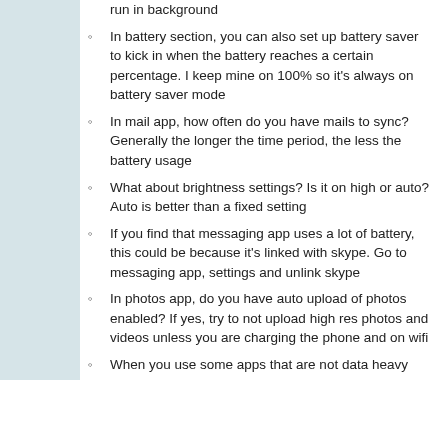run in background
In battery section, you can also set up battery saver to kick in when the battery reaches a certain percentage. I keep mine on 100% so it's always on battery saver mode
In mail app, how often do you have mails to sync? Generally the longer the time period, the less the battery usage
What about brightness settings? Is it on high or auto? Auto is better than a fixed setting
If you find that messaging app uses a lot of battery, this could be because it's linked with skype. Go to messaging app, settings and unlink skype
In photos app, do you have auto upload of photos enabled? If yes, try to not upload high res photos and videos unless you are charging the phone and on wifi
When you use some apps that are not data heavy like whatsapp or mail, you can use a